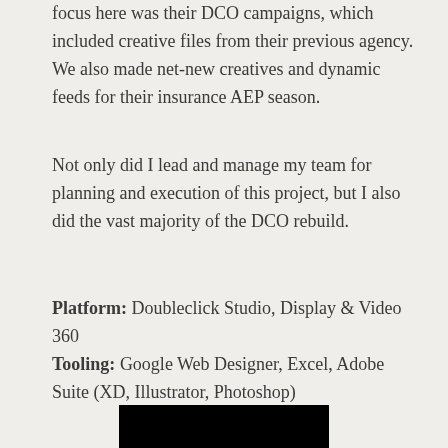focus here was their DCO campaigns, which included creative files from their previous agency. We also made net-new creatives and dynamic feeds for their insurance AEP season.
Not only did I lead and manage my team for planning and execution of this project, but I also did the vast majority of the DCO rebuild.
Platform: Doubleclick Studio, Display & Video 360
Tooling: Google Web Designer, Excel, Adobe Suite (XD, Illustrator, Photoshop)
[Figure (photo): Black rectangle at bottom center of page, partially visible]